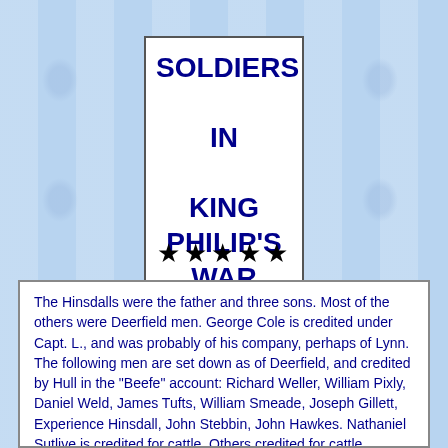SOLDIERS IN KING PHILIP'S WAR Chapter 7, Part IV
[Figure (illustration): Five gold/yellow star decorations in a row]
The Hinsdalls were the father and three sons. Most of the others were Deerfield men. George Cole is credited under Capt. L., and was probably of his company, perhaps of Lynn. The following men are set down as of Deerfield, and credited by Hull in the "Beefe" account: Richard Weller, William Pixly, Daniel Weld, James Tufts, William Smeade, Joseph Gillett, Experience Hinsdall, John Stebbin, John Hawkes. Nathaniel Sutlive is credited for cattle. Others credited for cattle,